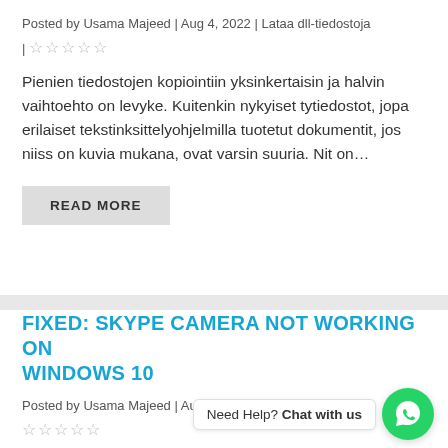Posted by Usama Majeed | Aug 4, 2022 | Lataa dll-tiedostoja | ★★★★★
Pienien tiedostojen kopiointiin yksinkertaisin ja halvin vaihtoehto on levyke. Kuitenkin nykyiset tytiedostot, jopa erilaiset tekstinksittelyohjelmilla tuotetut dokumentit, jos niiss on kuvia mukana, ovat varsin suuria. Nit on…
READ MORE
FIXED: SKYPE CAMERA NOT WORKING ON WINDOWS 10
Posted by Usama Majeed | Aug 3, 2022 | Webcam Test | ★★★★★
This camera is capable ... ed sound and image quality. It can record high-quality video footage during the day and at night. The camera